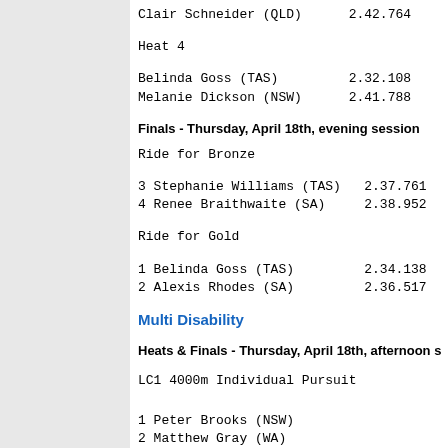Clair Schneider (QLD)    2.42.764
Heat 4
Belinda Goss (TAS)       2.32.108
Melanie Dickson (NSW)    2.41.788
Finals - Thursday, April 18th, evening session
Ride for Bronze
3 Stephanie Williams (TAS)   2.37.761
4 Renee Braithwaite (SA)     2.38.952
Ride for Gold
1 Belinda Goss (TAS)         2.34.138
2 Alexis Rhodes (SA)         2.36.517
Multi Disability
Heats & Finals - Thursday, April 18th, afternoon session
LC1 4000m Individual Pursuit
1 Peter Brooks (NSW)
2 Matthew Gray (WA)